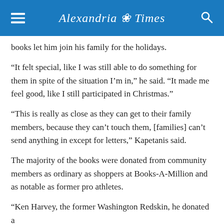Alexandria Times
books let him join his family for the holidays.
“It felt special, like I was still able to do something for them in spite of the situation I’m in,” he said. “It made me feel good, like I still participated in Christmas.”
“This is really as close as they can get to their family members, because they can’t touch them, [families] can’t send anything in except for letters,” Kapetanis said.
The majority of the books were donated from community members as ordinary as shoppers at Books-A-Million and as notable as former pro athletes.
“Ken Harvey, the former Washington Redskin, he donated a